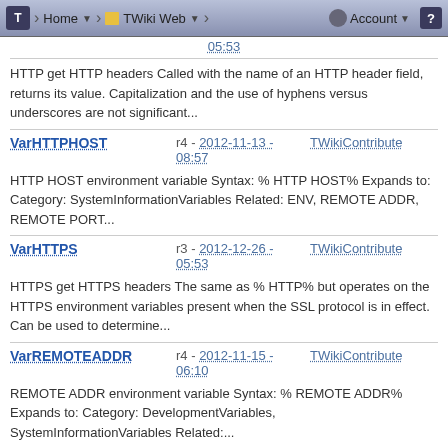T | Home | TWiki Web | Account | ?
05:53
HTTP get HTTP headers Called with the name of an HTTP header field, returns its value. Capitalization and the use of hyphens versus underscores are not significant...
VarHTTPHOST  r4 - 2012-11-13 - 08:57  TWikiContribute
HTTP HOST environment variable Syntax: % HTTP HOST% Expands to: Category: SystemInformationVariables Related: ENV, REMOTE ADDR, REMOTE PORT...
VarHTTPS  r3 - 2012-12-26 - 05:53  TWikiContribute
HTTPS get HTTPS headers The same as % HTTP% but operates on the HTTPS environment variables present when the SSL protocol is in effect. Can be used to determine...
VarREMOTEADDR  r4 - 2012-11-15 - 06:10  TWikiContribute
REMOTE ADDR environment variable Syntax: % REMOTE ADDR% Expands to: Category: DevelopmentVariables, SystemInformationVariables Related:...
VarREMOTEPORT  r4 - 2012-11-15 -  TWikiContribute